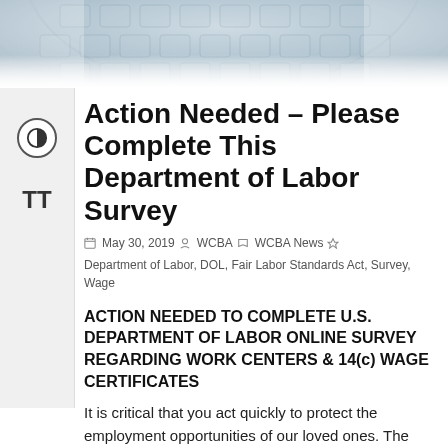[Figure (photo): Top portion of a government building dome (U.S. Capitol rotunda ceiling), architectural detail in grayscale]
Action Needed – Please Complete This Department of Labor Survey
May 30, 2019  WCBA  WCBA News  Department of Labor, DOL, Fair Labor Standards Act, Survey, Wage
ACTION NEEDED TO COMPLETE U.S. DEPARTMENT OF LABOR ONLINE SURVEY REGARDING WORK CENTERS & 14(c) WAGE CERTIFICATES
It is critical that you act quickly to protect the employment opportunities of our loved ones. The United States Department of Labor is conducting a